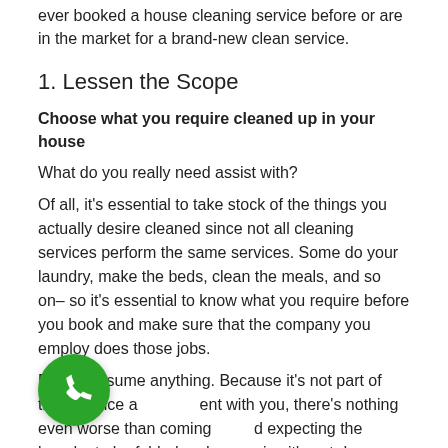ever booked a house cleaning service before or are in the market for a brand-new clean service.
1. Lessen the Scope
Choose what you require cleaned up in your house
What do you really need assist with?
Of all, it's essential to take stock of the things you actually desire cleaned since not all cleaning services perform the same services. Some do your laundry, make the beds, clean the meals, and so on– so it's essential to know what you require before you book and make sure that the company you employ does those jobs.
Do not assume anything. Because it's not part of their service agreement with you, there's nothing even worse than coming home and expecting the laundry to be folded and recognize it's not done.
[Figure (other): Green circular phone call button icon in the bottom left corner]